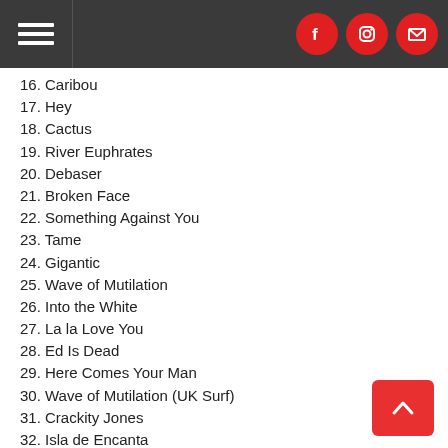Navigation header with hamburger menu and social icons (Facebook, Instagram, Email)
16. Caribou
17. Hey
18. Cactus
19. River Euphrates
20. Debaser
21. Broken Face
22. Something Against You
23. Tame
24. Gigantic
25. Wave of Mutilation
26. Into the White
27. La la Love You
28. Ed Is Dead
29. Here Comes Your Man
30. Wave of Mutilation (UK Surf)
31. Crackity Jones
32. Isla de Encanta
33. Something Against You
34. Broken Face
35. Mr. Grieves